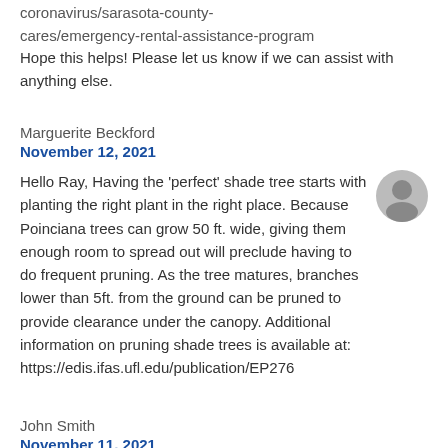coronavirus/sarasota-county-cares/emergency-rental-assistance-program
Hope this helps! Please let us know if we can assist with anything else.
Marguerite Beckford
November 12, 2021
Hello Ray, Having the 'perfect' shade tree starts with planting the right plant in the right place. Because Poinciana trees can grow 50 ft. wide, giving them enough room to spread out will preclude having to do frequent pruning. As the tree matures, branches lower than 5ft. from the ground can be pruned to provide clearance under the canopy. Additional information on pruning shade trees is available at: https://edis.ifas.ufl.edu/publication/EP276
John Smith
November 11, 2021
Can anyone please me or note